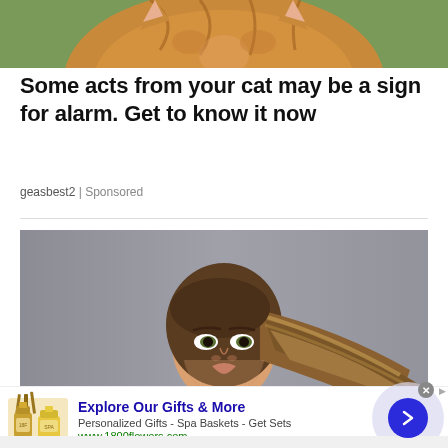[Figure (photo): Partial photo of a cat with orange/tabby fur, cropped at top of page]
Some acts from your cat may be a sign for alarm. Get to know it now
geasbest2 | Sponsored
[Figure (photo): Portrait photo of a beautiful young woman with long flowing highlighted hair against a gray background]
[Figure (infographic): Advertisement banner: Explore Our Gifts & More - Personalized Gifts - Spa Baskets - Get Sets - www.1800flowers.com with product image and arrow button]